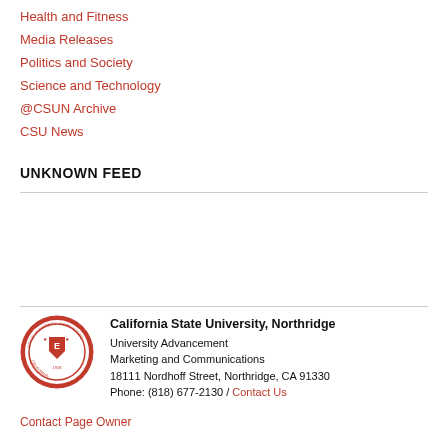Health and Fitness
Media Releases
Politics and Society
Science and Technology
@CSUN Archive
CSU News
UNKNOWN FEED
[Figure (logo): California State University Northridge seal/logo, circular red and white crest]
California State University, Northridge
University Advancement
Marketing and Communications
18111 Nordhoff Street, Northridge, CA 91330
Phone: (818) 677-2130 / Contact Us
Contact Page Owner